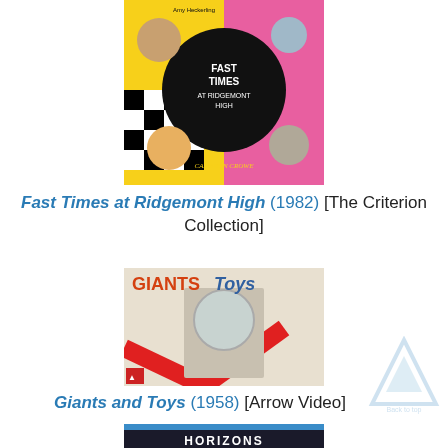[Figure (photo): Movie cover art for Fast Times at Ridgemont High - colorful checkerboard and pop art style with circular portrait photos and bold text]
Fast Times at Ridgemont High (1982) [The Criterion Collection]
[Figure (photo): Movie cover art for Giants and Toys - illustrated cover showing a person in a space suit helmet with retro Japanese design]
Giants and Toys (1958) [Arrow Video]
[Figure (photo): Partial view of a movie cover for Horizons with blue top bar]
[Figure (illustration): Back to top arrow watermark icon in light blue/grey]